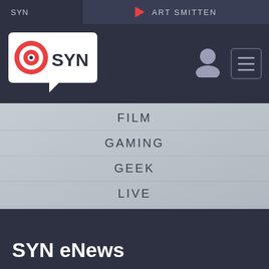SYN
ART SMITTEN
[Figure (logo): SYN logo: speech bubble with red target/record icon and SYN text]
FILM
GAMING
GEEK
LIVE
MUSIC
NEWS
POP CULTURE
SCIENCE
SPORT
SYN eNews